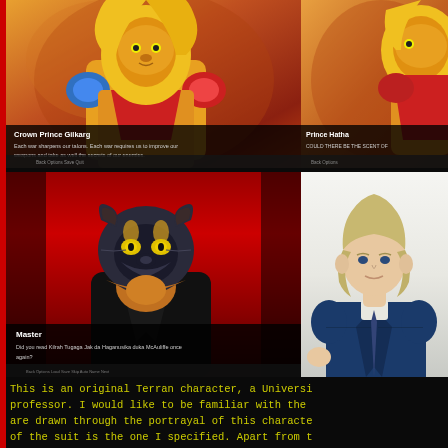[Figure (screenshot): Video game screenshot showing Crown Prince Gilkarg character - lion-like anthropomorphic character in orange and red armor with yellow mane, on orange/warm background. Subtitle bar reads: Crown Prince Gilkarg - Each war sharpens our talons. Each war requires us to improve our weapons and take as well the secrets of our enemies.]
[Figure (screenshot): Partial video game screenshot showing Prince Hatha character on right side - similar lion-like character partially visible. Subtitle bar reads: Prince Hatha - COULD THERE BE THE SCENT OF (cut off)]
[Figure (screenshot): Video game screenshot showing Master character - large wolf-like anthropomorphic character in black suit on red background. Subtitle bar reads: Master - Did you read Kilrah Tugaga Jak da Haganusika duka McAuliffe once again?]
[Figure (illustration): Illustration of a Terran human character with blonde/grey hair wearing a dark blue suit jacket, on light grey/white background. The character is Blair.]
This is an original Terran character, a University professor. I would like to be familiar with the are drawn through the portrayal of this character of the suit is the one I specified. Apart from basically, the color scheme is automatically given AI, including the hair color. Hopefully I can start Blair in the near future.